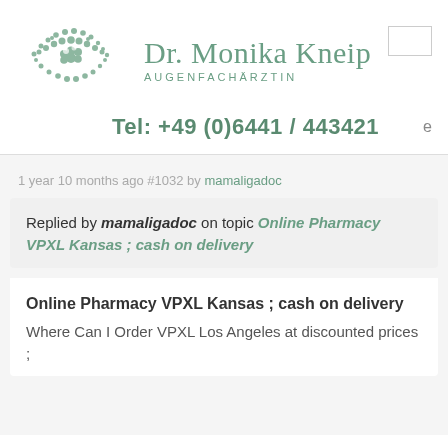[Figure (logo): Stylized eye logo in green/teal halftone dots pattern]
Dr. Monika Kneip AUGENFACHÄRZTIN
Tel: +49 (0)6441 / 443421
1 year 10 months ago #1032 by mamaligadoc
Replied by mamaligadoc on topic Online Pharmacy VPXL Kansas ; cash on delivery
Online Pharmacy VPXL Kansas ; cash on delivery
Where Can I Order VPXL Los Angeles at discounted prices ;